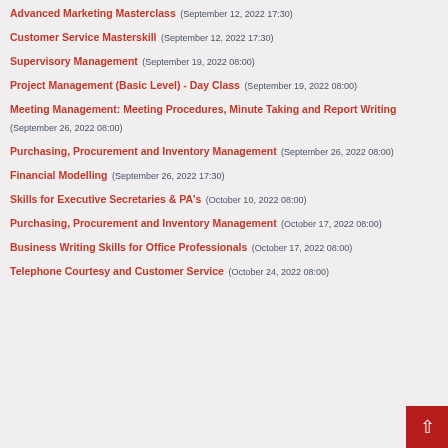Advanced Marketing Masterclass (September 12, 2022 17:30)
Customer Service Masterskill (September 12, 2022 17:30)
Supervisory Management (September 19, 2022 08:00)
Project Management (Basic Level) - Day Class (September 19, 2022 08:00)
Meeting Management: Meeting Procedures, Minute Taking and Report Writing (September 26, 2022 08:00)
Purchasing, Procurement and Inventory Management (September 26, 2022 08:00)
Financial Modelling (September 26, 2022 17:30)
Skills for Executive Secretaries & PA's (October 10, 2022 08:00)
Purchasing, Procurement and Inventory Management (October 17, 2022 08:00)
Business Writing Skills for Office Professionals (October 17, 2022 08:00)
Telephone Courtesy and Customer Service (October 24, 2022 08:00)